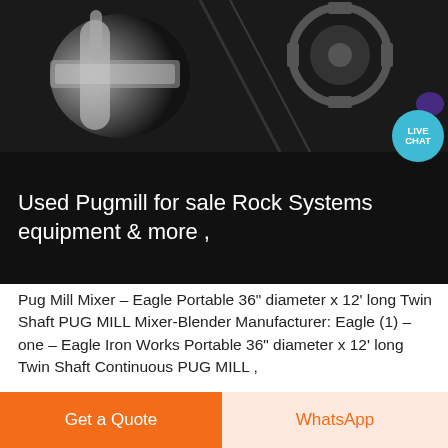[Figure (photo): Industrial machinery photo — pugmill/mixer equipment close-up, dark metallic components with gears and cylinders visible]
Used Pugmill for sale Rock Systems equipment & more ,
Pug Mill Mixer – Eagle Portable 36" diameter x 12' long Twin Shaft PUG MILL Mixer-Blender Manufacturer: Eagle (1) – one – Eagle Iron Works Portable 36" diameter x 12' long Twin Shaft Continuous PUG MILL ,
[Figure (photo): Second industrial machinery image, partially visible at bottom — steel structural elements with diagonal lines]